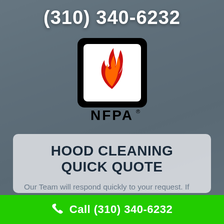(310) 340-6232
[Figure (logo): NFPA logo — black square bracket frame with red and orange flame icon inside, 'NFPA' text below with registered trademark symbol]
HOOD CLEANING QUICK QUOTE
Our Team will respond quickly to your request. If you're in the Atwater area, we can call you back and possibly come out the same
Call (310) 340-6232